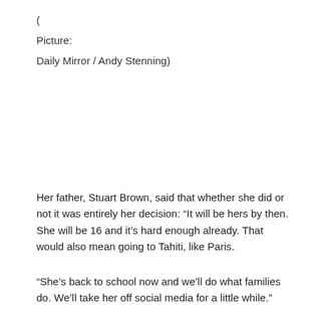(
Picture:
Daily Mirror / Andy Stenning)
Her father, Stuart Brown, said that whether she did or not it was entirely her decision: “It will be hers by then. She will be 16 and it’s hard enough already. That would also mean going to Tahiti, like Paris.
“She’s back to school now and we’ll do what families do. We’ll take her off social media for a little while.”